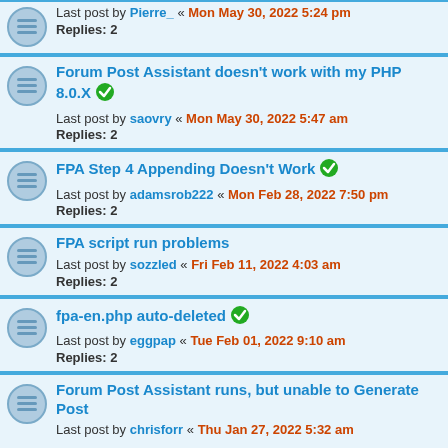Last post by Pierre_ « Mon May 30, 2022 5:24 pm
Replies: 2
Forum Post Assistant doesn't work with my PHP 8.0.X [resolved]
Last post by saovry « Mon May 30, 2022 5:47 am
Replies: 2
FPA Step 4 Appending Doesn't Work [resolved]
Last post by adamsrob222 « Mon Feb 28, 2022 7:50 pm
Replies: 2
FPA script run problems
Last post by sozzled « Fri Feb 11, 2022 4:03 am
Replies: 2
fpa-en.php auto-deleted [resolved]
Last post by eggpap « Tue Feb 01, 2022 9:10 am
Replies: 2
Forum Post Assistant runs, but unable to Generate Post
Last post by chrisforr « Thu Jan 27, 2022 5:32 am